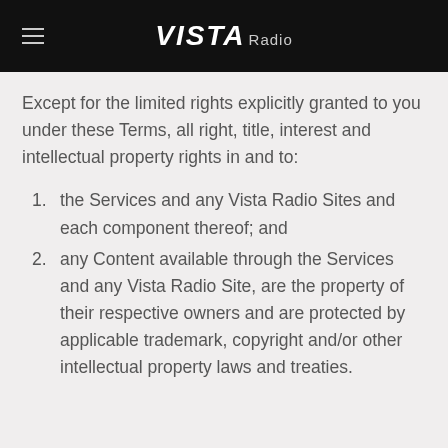VISTA Radio
Except for the limited rights explicitly granted to you under these Terms, all right, title, interest and intellectual property rights in and to:
the Services and any Vista Radio Sites and each component thereof; and
any Content available through the Services and any Vista Radio Site, are the property of their respective owners and are protected by applicable trademark, copyright and/or other intellectual property laws and treaties.